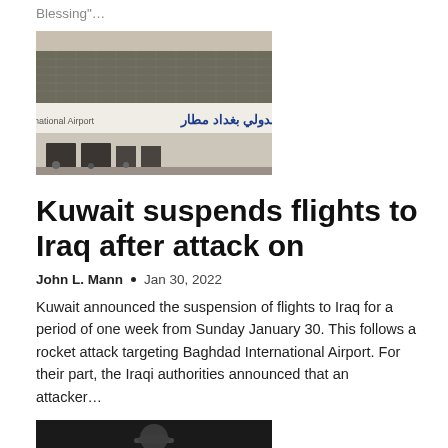Blessing"...
[Figure (photo): Exterior facade of Baghdad International Airport showing the airport sign in Arabic and English]
Kuwait suspends flights to Iraq after attack on
John L. Mann  •  Jan 30, 2022
Kuwait announced the suspension of flights to Iraq for a period of one week from Sunday January 30. This follows a rocket attack targeting Baghdad International Airport. For their part, the Iraqi authorities announced that an attacker...
[Figure (photo): Portrait photo of a person, partially visible at bottom of page]